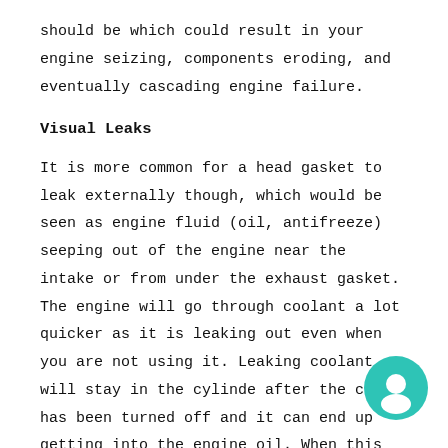should be which could result in your engine seizing, components eroding, and eventually cascading engine failure.
Visual Leaks
It is more common for a head gasket to leak externally though, which would be seen as engine fluid (oil, antifreeze) seeping out of the engine near the intake or from under the exhaust gasket. The engine will go through coolant a lot quicker as it is leaking out even when you are not using it. Leaking coolant will stay in the cylinde after the car has been turned off and it can end up getting into the engine oil. When this
[Figure (other): Teal/turquoise circular chat bubble icon in lower right corner]